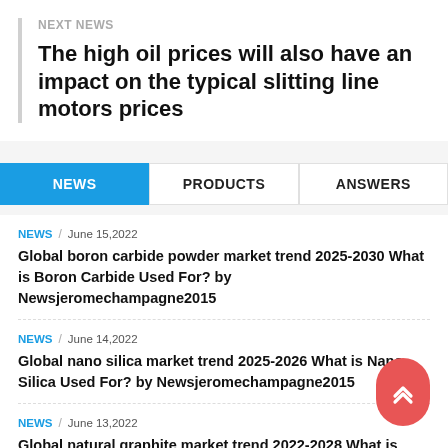NEXT NEWS
The high oil prices will also have an impact on the typical slitting line motors prices
NEWS  PRODUCTS  ANSWERS
NEWS / June 15,2022
Global boron carbide powder market trend 2025-2030 What is Boron Carbide Used For? by Newsjeromechampagne2015
NEWS / June 14,2022
Global nano silica market trend 2025-2026 What is Nano Silica Used For? by Newsjeromechampagne2015
NEWS / June 13,2022
Global natural graphite market trend 2022-2028 What is Natural Graphite Used For? by Newsjeromechampagne2015